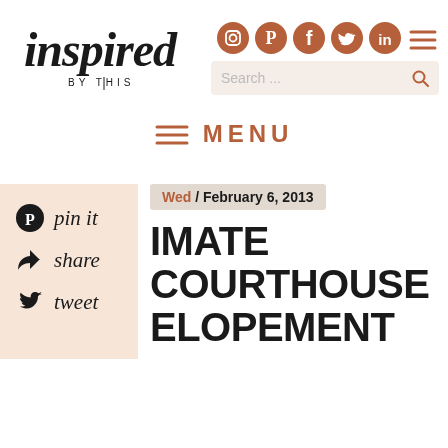[Figure (logo): Inspired by This logo in handwritten script with BY THIS in small caps below]
[Figure (infographic): Social media icons (Instagram, Pinterest, Facebook, Twitter, LinkedIn) in brown circles, plus hamburger menu icon in brown]
[Figure (screenshot): Search bar with placeholder text 'Search ...' and magnifying glass icon]
≡ MENU
[Figure (infographic): Social share sidebar with Pinterest, share (paper plane), and tweet (Twitter bird) icons with handwritten labels on peach background]
Wed / February 6, 2013
IMATE COURTHOUSE ELOPEMENT